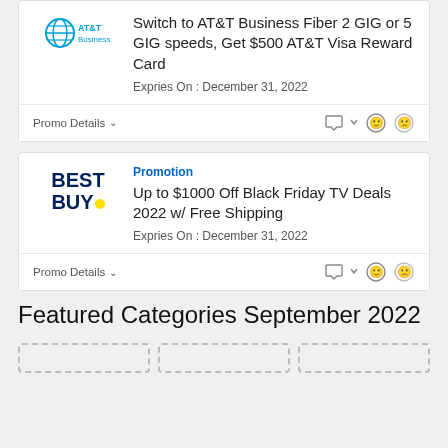[Figure (logo): AT&T Business logo with blue globe icon and AT&T Business text]
Switch to AT&T Business Fiber 2 GIG or 5 GIG speeds, Get $500 AT&T Visa Reward Card
Expries On : December 31, 2022
Promo Details
[Figure (logo): Best Buy logo in dark navy bold text with yellow dot]
Promotion
Up to $1000 Off Black Friday TV Deals 2022 w/ Free Shipping
Expries On : December 31, 2022
Promo Details
Featured Categories September 2022